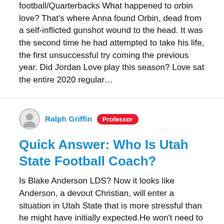football/Quarterbacks What happened to orbin love? That's where Anna found Orbin, dead from a self-inflicted gunshot wound to the head. It was the second time he had attempted to take his life, the first unsuccessful try coming the previous year. Did Jordan Love play this season? Love sat the entire 2020 regular…
Ralph Griffin Professor
Quick Answer: Who Is Utah State Football Coach?
Is Blake Anderson LDS? Now it looks like Anderson, a devout Christian, will enter a situation in Utah State that is more stressful than he might have initially expected.He won't need to just rehab the teams on-field product, but help restore its trust in the